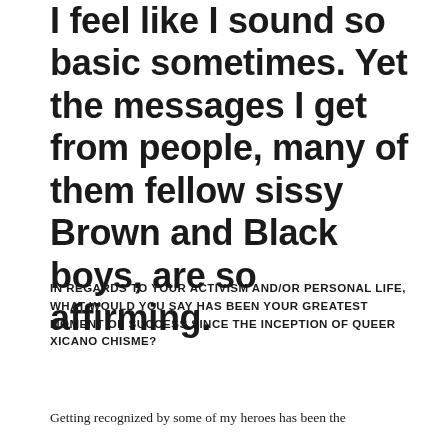I feel like I sound so basic sometimes. Yet the messages I get from people, many of them fellow sissy Brown and Black boys, are so affirming.
IN REGARDS TO YOUR ACTIVISM AND/OR PERSONAL LIFE, WHAT WOULD YOU SAY HAS BEEN YOUR GREATEST MOMENT OF SUCCESS SINCE THE INCEPTION OF QUEER XICANO CHISME?
Getting recognized by some of my heroes has been the